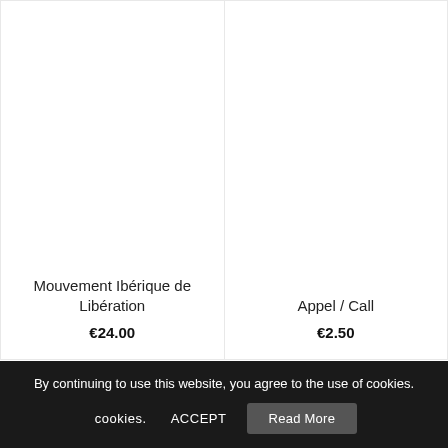Mouvement Ibérique de Libération
€24.00
Appel / Call
€2.50
By continuing to use this website, you agree to the use of cookies.
ACCEPT
Read More